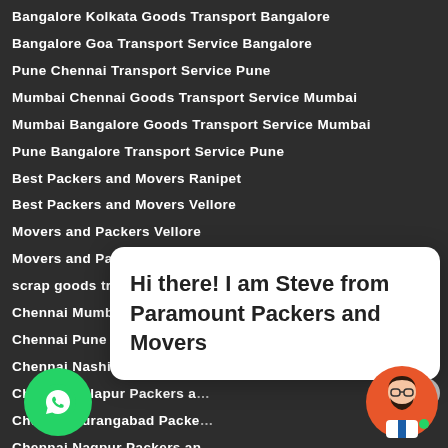Bangalore Kolkata Goods Transport Bangalore
Bangalore Goa Transport Service Bangalore
Pune Chennai Transport Service Pune
Mumbai Chennai Goods Transport Service Mumbai
Mumbai Bangalore Goods Transport Service Mumbai
Pune Bangalore Transport Service Pune
Best Packers and Movers Ranipet
Best Packers and Movers Vellore
Movers and Packers Vellore
Movers and Packers Ranipet
scrap goods transportation Hyderabad
Chennai Mumbai Packers and Movers Chennai
Chennai Pune Packers and Movers Chennai
Chennai Nashik Packers and Movers Chennai
Chennai Solapur Packers a…
Chennai Aurangabad Packe…
Chennai Nagpur Packers an…
Chennai Goa Packers and M…
Chennai Mangalore Packers and Movers Chennai
Mysore Packers and Movers Chennai
Bangalore Packers and Movers Chennai
Chennai Hosur Packers and Movers Chennai
Hi there! I am Steve from Paramount Packers and Movers